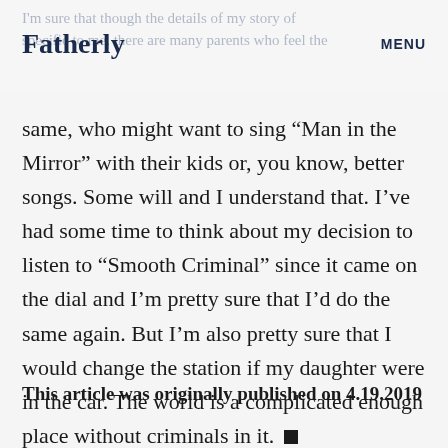Fatherly   MENU
I'm sure that though the details of my story of specific to me, there are many parents who feel the same, who might want to sing “Man in the Mirror” with their kids or, you know, better songs. Some will and I understand that. I’ve had some time to think about my decision to listen to “Smooth Criminal” since it came on the dial and I’m pretty sure that I’d do the same again. But I’m also pretty sure that I would change the station if my daughter were in the car. The world is a complicated enough place without criminals in it. ■
This article was originally published on 4.19.2019